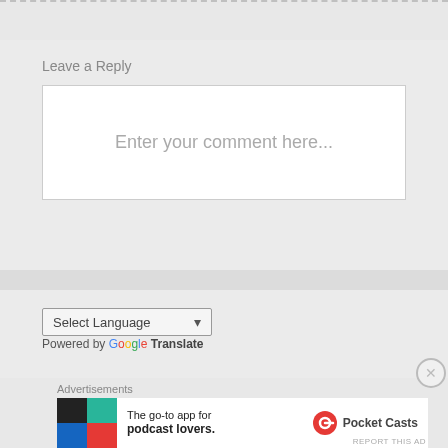Leave a Reply
Enter your comment here...
Select Language
Powered by Google Translate
Advertisements
[Figure (screenshot): Pocket Casts advertisement banner: 'The go-to app for podcast lovers.' with Pocket Casts logo]
REPORT THIS AD